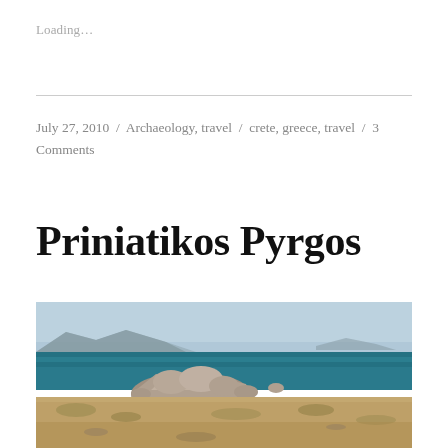Loading...
July 27, 2010 / Archaeology, travel / crete, greece, travel / 3 Comments
Priniatikos Pyrgos
[Figure (photo): Coastal landscape photograph showing rocky shoreline with large boulders in the foreground, blue-green sea in the middle, and mountains on the horizon under a hazy sky. Dry scrubland in the lower portion.]